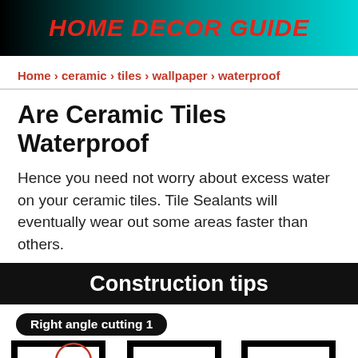HOME DECOR GUIDE
Home › ceramic › tiles › wallpaper › waterproof
Are Ceramic Tiles Waterproof
Hence you need not worry about excess water on your ceramic tiles. Tile Sealants will eventually wear out some areas faster than others.
Construction tips
Right angle cutting 1
[Figure (illustration): Three step diagram showing right angle tile cutting technique. First tile has a circular annotation labeled 'Cut off a part', second tile shows the cut result, third tile shows the final shape. Arrows point right between steps. A blue scroll-to-top button appears at bottom right.]